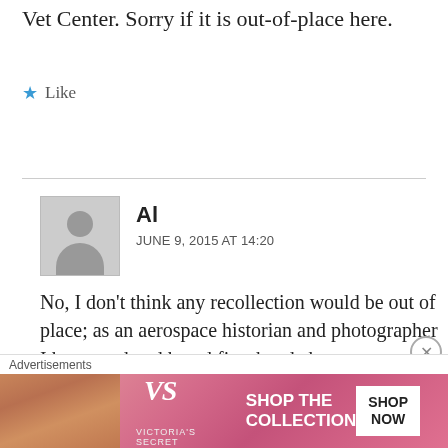Vet Center. Sorry if it is out-of-place here.
★ Like
Reply
Al
JUNE 9, 2015 AT 14:20
No, I don't think any recollection would be out of place; as an aerospace historian and photographer I have read and heard first-hand about many tragedies and accidents. It's part of the history of aviation and spaceflight told from the point of view of
Advertisements
[Figure (other): Victoria's Secret advertisement banner: model photo on left, VS logo, SHOP THE COLLECTION text, and SHOP NOW button on right]